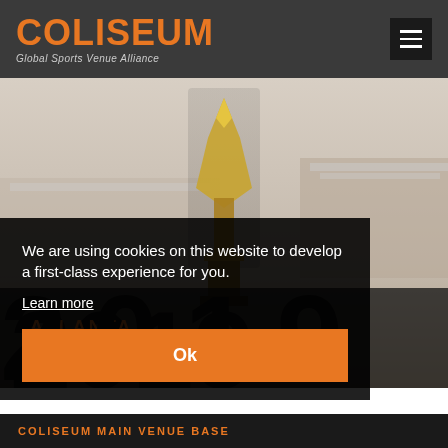COLISEUM Global Sports Venue Alliance
[Figure (screenshot): Hero image showing a football championship trophy in front of a stadium, with text 'ATLANTA' in orange and large black letters partially visible at the bottom]
We are using cookies on this website to develop a first-class experience for you.
Learn more
Ok